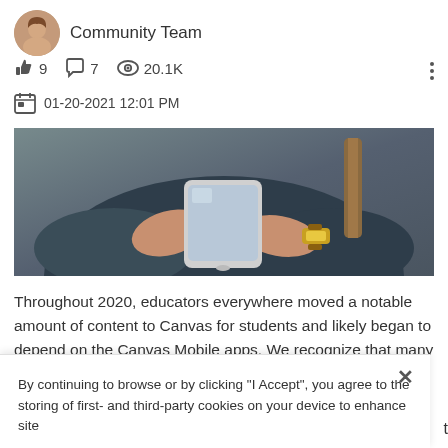Community Team
9  7  20.1K
01-20-2021 12:01 PM
[Figure (photo): Person holding a smartphone with both hands, wearing a watch on one wrist, dressed in a dark jacket]
Throughout 2020, educators everywhere moved a notable amount of content to Canvas for students and likely began to depend on the Canvas Mobile apps. We recognize that many students are learning in different locations or may not always have access to computers
By continuing to browse or by clicking "I Accept", you agree to the storing of first- and third-party cookies on your device to enhance site